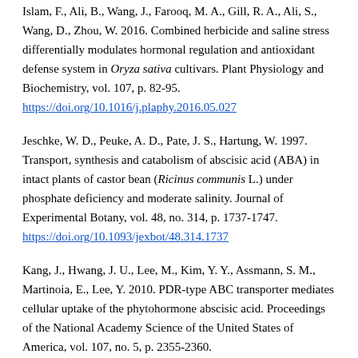Islam, F., Ali, B., Wang, J., Farooq, M. A., Gill, R. A., Ali, S., Wang, D., Zhou, W. 2016. Combined herbicide and saline stress differentially modulates hormonal regulation and antioxidant defense system in Oryza sativa cultivars. Plant Physiology and Biochemistry, vol. 107, p. 82-95. https://doi.org/10.1016/j.plaphy.2016.05.027
Jeschke, W. D., Peuke, A. D., Pate, J. S., Hartung, W. 1997. Transport, synthesis and catabolism of abscisic acid (ABA) in intact plants of castor bean (Ricinus communis L.) under phosphate deficiency and moderate salinity. Journal of Experimental Botany, vol. 48, no. 314, p. 1737-1747. https://doi.org/10.1093/jexbot/48.314.1737
Kang, J., Hwang, J. U., Lee, M., Kim, Y. Y., Assmann, S. M., Martinoia, E., Lee, Y. 2010. PDR-type ABC transporter mediates cellular uptake of the phytohormone abscisic acid. Proceedings of the National Academy Science of the United States of America, vol. 107, no. 5, p. 2355-2360.